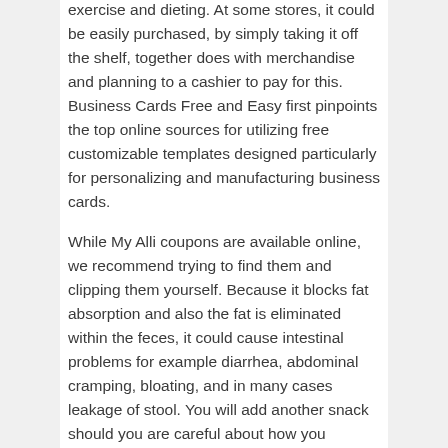exercise and dieting. At some stores, it could be easily purchased, by simply taking it off the shelf, together does with merchandise and planning to a cashier to pay for this. Business Cards Free and Easy first pinpoints the top online sources for utilizing free customizable templates designed particularly for personalizing and manufacturing business cards.
While My Alli coupons are available online, we recommend trying to find them and clipping them yourself. Because it blocks fat absorption and also the fat is eliminated within the feces, it could cause intestinal problems for example diarrhea, abdominal cramping, bloating, and in many cases leakage of stool. You will add another snack should you are careful about how you happen to be using your exchanges. Of course, there isn't any fun if you'll find no extra features.